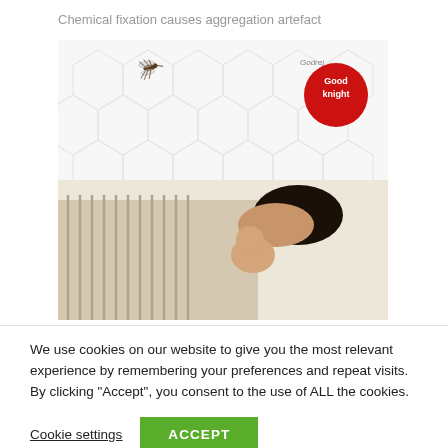Chemical fixation causes aggregation artefact
[Figure (photo): Advertisement image for Good Knight mosquito repellent brand. Shows a mosquito on the upper left, hexagonal pattern background, a red circular Good Knight logo/badge on the upper right, and a woman lying down with a baby in the lower portion.]
We use cookies on our website to give you the most relevant experience by remembering your preferences and repeat visits. By clicking “Accept”, you consent to the use of ALL the cookies.
Cookie settings
ACCEPT